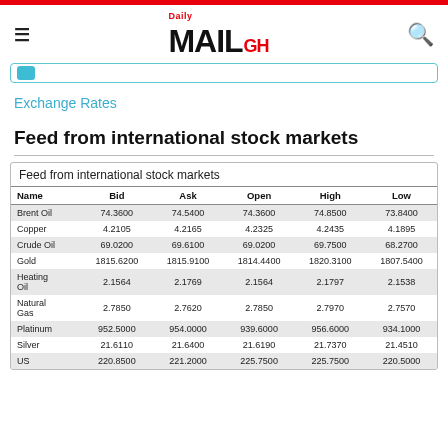Daily MAIL GH
Exchange Rates
Feed from international stock markets
| Name | Bid | Ask | Open | High | Low |
| --- | --- | --- | --- | --- | --- |
| Brent Oil | 74.3600 | 74.5400 | 74.3600 | 74.8500 | 73.8400 |
| Copper | 4.2105 | 4.2165 | 4.2325 | 4.2435 | 4.1895 |
| Crude Oil | 69.0200 | 69.6100 | 69.0200 | 69.7500 | 68.2700 |
| Gold | 1815.6200 | 1815.9100 | 1814.4400 | 1820.3100 | 1807.5400 |
| Heating Oil | 2.1564 | 2.1769 | 2.1564 | 2.1797 | 2.1538 |
| Natural Gas | 2.7850 | 2.7620 | 2.7850 | 2.7970 | 2.7570 |
| Platinum | 952.5000 | 954.0000 | 939.6000 | 956.6000 | 934.1000 |
| Silver | 21.6110 | 21.6400 | 21.6190 | 21.7370 | 21.4510 |
| US ... | 220.8500 | 221.2000 | 225.7500 | 225.7500 | 220.5000 |